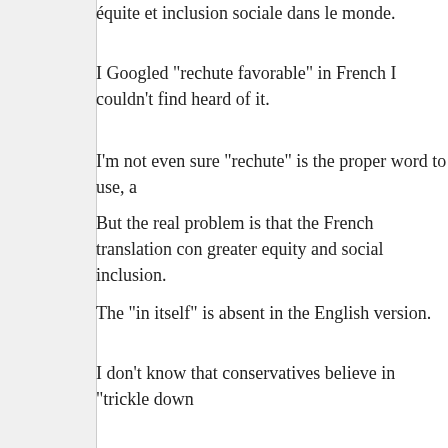équite et inclusion sociale dans le monde.
I Googled "rechute favorable" in French I couldn't find heard of it.
I'm not even sure "rechute" is the proper word to use, a
But the real problem is that the French translation con greater equity and social inclusion.
The "in itself" is absent in the English version.
I don't know that conservatives believe in "trickle down
Trickle down makes tax cuts a driving force in the eco think that economic growth is better assured by having
There are some free marketers who unabashedly belie doubt that the wealth generated from free markets lea who think this way. Pope Benedict in one of his encyclo that, are not driven by monetary gain, but by humanit